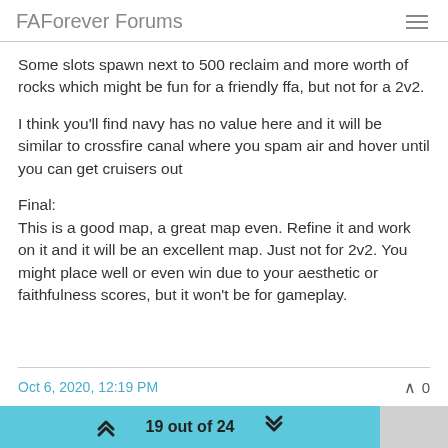FAForever Forums
Some slots spawn next to 500 reclaim and more worth of rocks which might be fun for a friendly ffa, but not for a 2v2.
I think you'll find navy has no value here and it will be similar to crossfire canal where you spam air and hover until you can get cruisers out
Final:
This is a good map, a great map even. Refine it and work on it and it will be an excellent map. Just not for 2v2. You might place well or even win due to your aesthetic or faithfulness scores, but it won't be for gameplay.
Oct 6, 2020, 12:19 PM    ∧ 0
19 out of 24